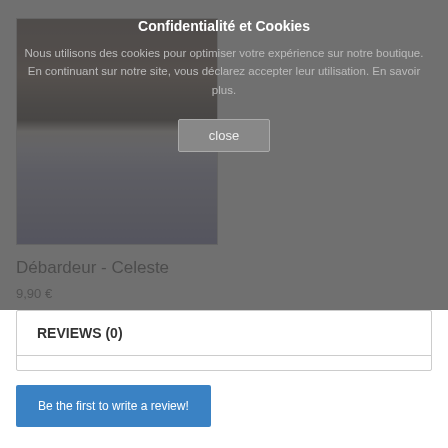[Figure (photo): Product photo of a Débardeur (tank top) in Celeste color, showing a person wearing a dark sleeveless top with light blue/grey pants]
Confidentialité et Cookies
Nous utilisons des cookies pour optimiser votre expérience sur notre boutique. En continuant sur notre site, vous déclarez accepter leur utilisation. En savoir plus.
close
Débardeur - Celeste
9,90 €
REVIEWS (0)
Be the first to write a review!